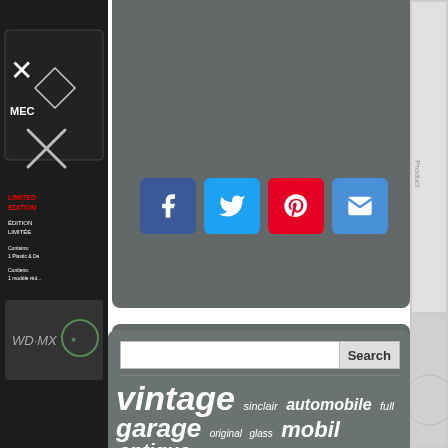[Figure (screenshot): Website screenshot showing social share buttons (Facebook, Twitter, Pinterest, Email) in a gray panel, a search bar with Search button, and a tag cloud of keywords: vintage, garage, metal, gasoline, porcelain, shell, antique, automobile, mobil, advertising, texaco, pegasus, motorcycle, service, pump, sign, plate, auto, lens, display, tires, ford, standard, light, glass, original, sinclair, full on a dark gray background.]